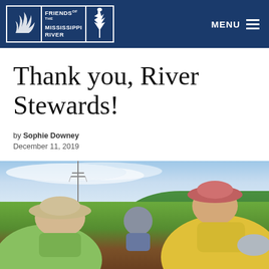Friends of the Mississippi River — MENU
Thank you, River Stewards!
by Sophie Downey
December 11, 2019
[Figure (photo): Volunteers bending over and planting in a garden area outdoors, with trees in the background and power lines visible. One person wears a green shirt and wide-brimmed hat; another wears a yellow jacket and pink hat.]